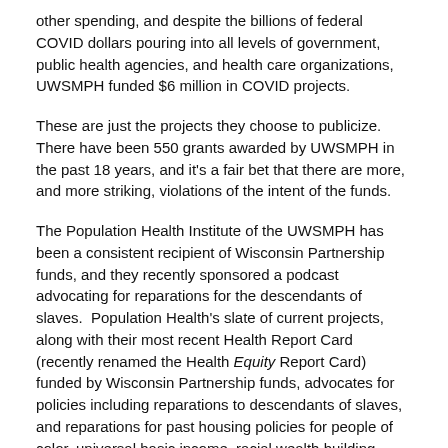other spending, and despite the billions of federal COVID dollars pouring into all levels of government, public health agencies, and health care organizations, UWSMPH funded $6 million in COVID projects.
These are just the projects they choose to publicize.  There have been 550 grants awarded by UWSMPH in the past 18 years, and it's a fair bet that there are more, and more striking, violations of the intent of the funds.
The Population Health Institute of the UWSMPH has been a consistent recipient of Wisconsin Partnership funds, and they recently sponsored a podcast advocating for reparations for the descendants of slaves.  Population Health's slate of current projects, along with their most recent Health Report Card (recently renamed the Health Equity Report Card) funded by Wisconsin Partnership funds, advocates for policies including reparations to descendants of slaves, and reparations for past housing policies for people of color, universal basic income, racial wealth building, elimination of voter ID, expanded mail voting, and living wage laws.